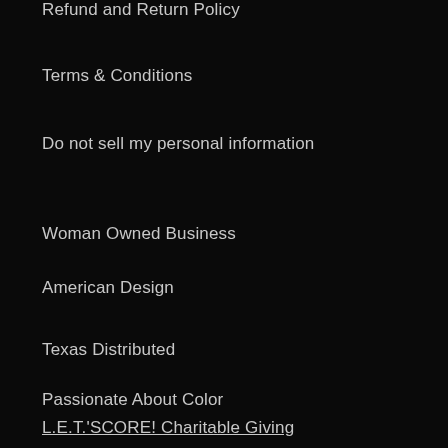Refund and Return Policy
Terms & Conditions
Do not sell my personal information
Woman Owned Business
American Design
Texas Distributed
Passionate About Color
L.E.T.'SCORE! Charitable Giving